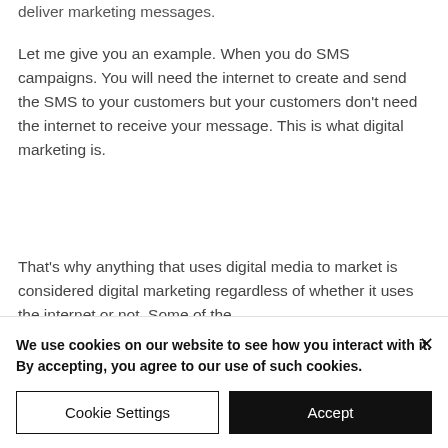deliver marketing messages.
Let me give you an example. When you do SMS campaigns. You will need the internet to create and send the SMS to your customers but your customers don't need the internet to receive your message. This is what digital marketing is.
That's why anything that uses digital media to market is considered digital marketing regardless of whether it uses the internet or not. Some of the
We use cookies on our website to see how you interact with it. By accepting, you agree to our use of such cookies.
Cookie Settings
Accept